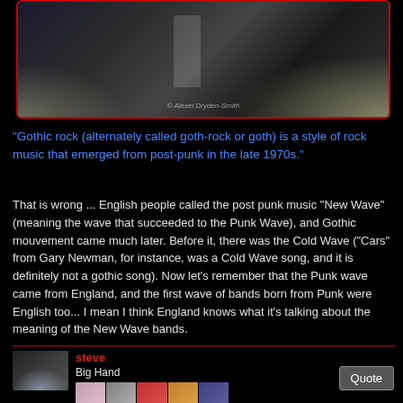[Figure (photo): Concert/live music performance photo showing a performer on stage with dramatic stage lighting and smoke effects. Dark atmosphere with bright backlighting.]
"Gothic rock (alternately called goth-rock or goth) is a style of rock music that emerged from post-punk in the late 1970s."
That is wrong ... English people called the post punk music "New Wave" (meaning the wave that succeeded to the Punk Wave), and Gothic mouvement came much later. Before it, there was the Cold Wave ("Cars" from Gary Newman, for instance, was a Cold Wave song, and it is definitely not a gothic song). Now let's remember that the Punk wave came from England, and the first wave of bands born from Punk were English too... I mean I think England knows what it's talking about the meaning of the New Wave bands.
steve
Big Hand
[Figure (photo): User avatar: dark concert photo with stage lighting glow]
[Figure (other): Grid of album cover thumbnails, 5 columns by 2 rows]